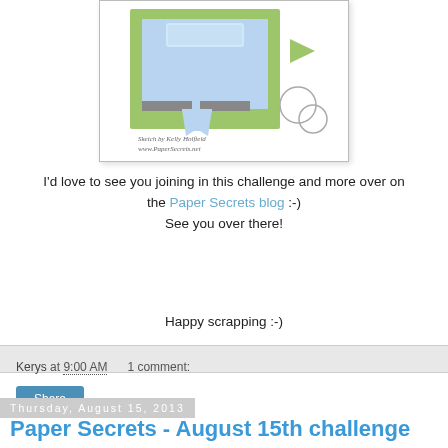[Figure (illustration): A card sketch/layout diagram showing a card blueprint with green mat, light blue rectangles, a banner ribbon, and two circles. Text reads 'Sketch by Kelly Holfield www.PaperSecrets.net']
I'd love to see you joining in this challenge and more over on the Paper Secrets blog :-)
See you over there!
Happy scrapping :-)
Kerys at 9:00 AM   1 comment:  Share
Thursday, August 15, 2013
Paper Secrets - August 15th challenge